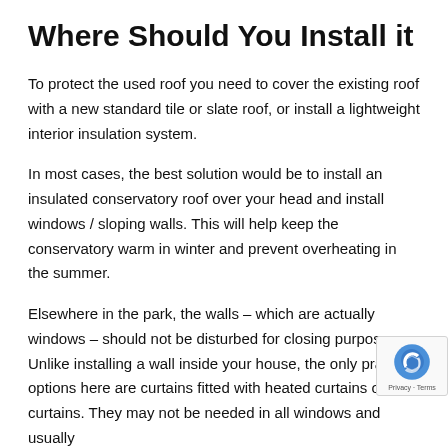Where Should You Install it
To protect the used roof you need to cover the existing roof with a new standard tile or slate roof, or install a lightweight interior insulation system.
In most cases, the best solution would be to install an insulated conservatory roof over your head and install windows / sloping walls. This will help keep the conservatory warm in winter and prevent overheating in the summer.
Elsewhere in the park, the walls – which are actually windows – should not be disturbed for closing purposes. Unlike installing a wall inside your house, the only pra options here are curtains fitted with heated curtains o curtains. They may not be needed in all windows and usually